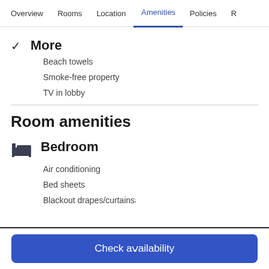Overview | Rooms | Location | Amenities | Policies | R
✓ More
Beach towels
Smoke-free property
TV in lobby
Room amenities
Bedroom
Air conditioning
Bed sheets
Blackout drapes/curtains